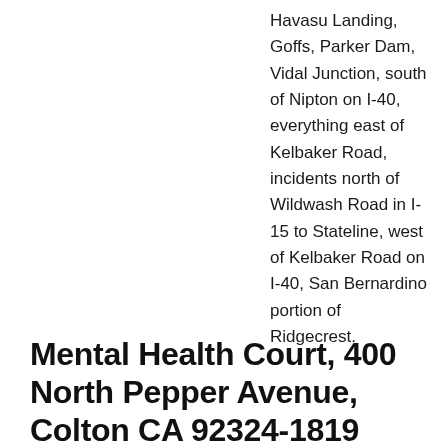Havasu Landing, Goffs, Parker Dam, Vidal Junction, south of Nipton on I-40, everything east of Kelbaker Road, incidents north of Wildwash Road in I-15 to Stateline, west of Kelbaker Road on I-40, San Bernardino portion of Ridgecrest.
Mental Health Court, 400 North Pepper Avenue, Colton CA 92324-1819